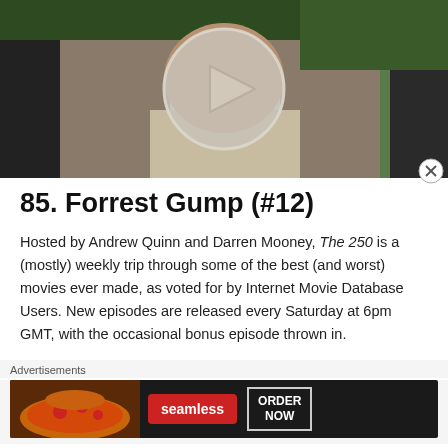[Figure (screenshot): Video thumbnail showing a man with a neck brace and a play button overlay circle in the center]
85. Forrest Gump (#12)
Hosted by Andrew Quinn and Darren Mooney, The 250 is a (mostly) weekly trip through some of the best (and worst) movies ever made, as voted for by Internet Movie Database Users. New episodes are released every Saturday at 6pm GMT, with the occasional bonus episode thrown in.
Advertisements
[Figure (screenshot): Seamless food delivery advertisement banner with pizza image, Seamless logo, and ORDER NOW button]